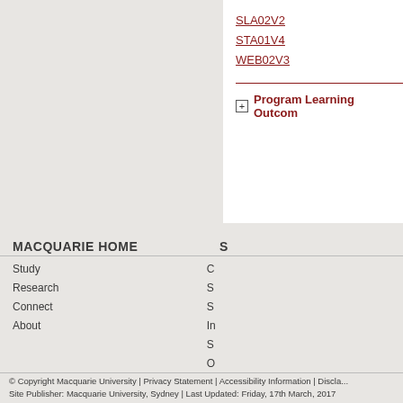SLA02V2
STA01V4
WEB02V3
Program Learning Outcom...
MACQUARIE HOME
ST...
Study
Research
Connect
About
© Copyright Macquarie University | Privacy Statement | Accessibility Information | Discla... Site Publisher: Macquarie University, Sydney | Last Updated: Friday, 17th March, 2017